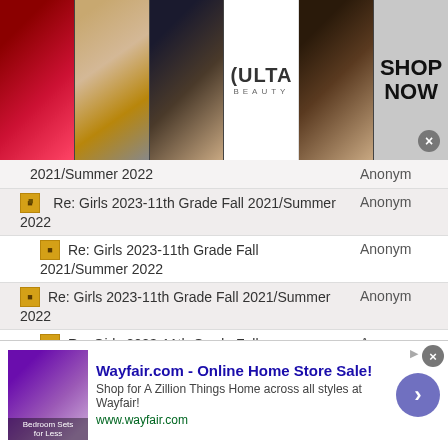[Figure (advertisement): Ulta Beauty banner ad with makeup images (lips, brush, eye) and Shop Now button]
Re: Girls 2023-11th Grade Fall 2021/Summer 2022  Anonym
Re: Girls 2023-11th Grade Fall 2021/Summer 2022  Anonym
Re: Girls 2023-11th Grade Fall 2021/Summer 2022  Anonym
Re: Girls 2023-11th Grade Fall 2021/Summer 2022  Anonym
Re: Girls 2023-11th Grade Fall 2021/Summer 2022  Anonym
Re: Girls 2023-11th Grade Fall 2021/Summer 2022  Anonym
Re: Girls 2023-11th Grade Fall (partial)  Anonym
[Figure (advertisement): Wayfair.com - Online Home Store Sale! advertisement banner with bedroom furniture thumbnail]